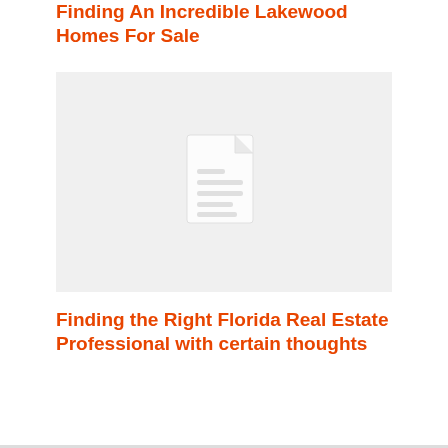Finding An Incredible Lakewood Homes For Sale
[Figure (illustration): Placeholder image with a document/file icon on a light gray background]
Finding the Right Florida Real Estate Professional with certain thoughts